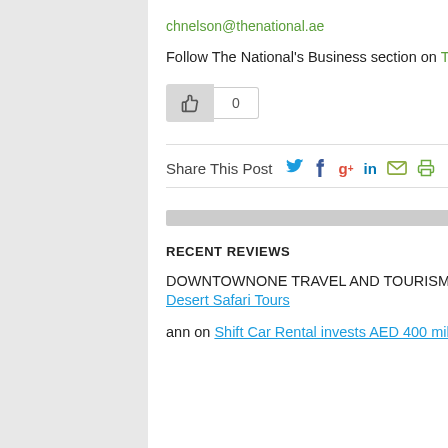chnelson@thenational.ae
Follow The National's Business section on Twitter
[Figure (other): Like button with thumbs up icon and count of 0]
Share This Post
RECENT REVIEWS
DOWNTOWNONE TRAVEL AND TOURISM on Desert Safari Tours
ann on Shift Car Rental invests AED 400 million